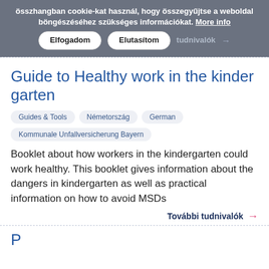összhangban cookie-kat használ, hogy összegyűjtse a weboldal böngészéséhez szükséges információkat. More info Elfogadom Elutasítom tudnivalók →
Guide to Healthy work in the kinder garten
Guides & Tools   Németország   German   Kommunale Unfallversicherung Bayern
Booklet about how workers in the kindergarten could work healthy. This booklet gives information about the dangers in kindergarten as well as practical information on how to avoid MSDs
További tudnivalók →
P...